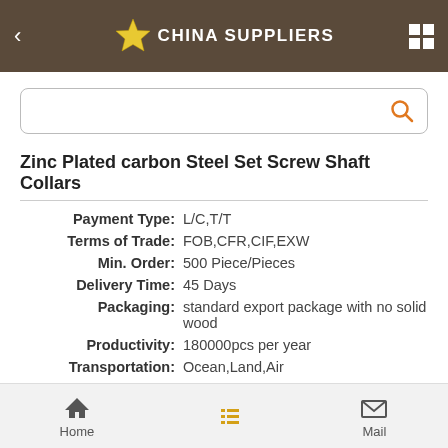CHINA SUPPLIERS
Zinc Plated carbon Steel Set Screw Shaft Collars
Payment Type: L/C,T/T
Terms of Trade: FOB,CFR,CIF,EXW
Min. Order: 500 Piece/Pieces
Delivery Time: 45 Days
Packaging: standard export package with no solid wood
Productivity: 180000pcs per year
Transportation: Ocean,Land,Air
Place of Origin: China
Home  Mail